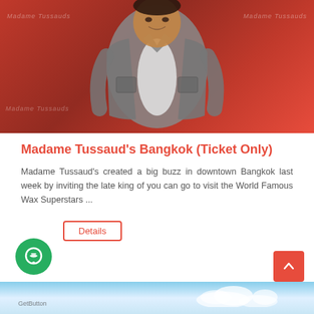[Figure (photo): Photo of a wax figure resembling Jackie Chan in a gray jacket, displayed at Madame Tussaud's Bangkok, with red background showing Madame Tussauds branding]
Madame Tussaud's Bangkok (Ticket Only)
Madame Tussaud's created a big buzz in downtown Bangkok last week by inviting the late king of you can go to visit the World Famous Wax Superstars ...
Details